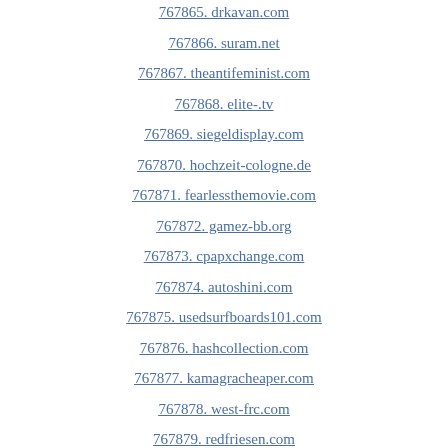767865. drkavan.com
767866. suram.net
767867. theantifeminist.com
767868. elite-.tv
767869. siegeldisplay.com
767870. hochzeit-cologne.de
767871. fearlessthemovie.com
767872. gamez-bb.org
767873. cpapxchange.com
767874. autoshini.com
767875. usedsurfboards101.com
767876. hashcollection.com
767877. kamagracheaper.com
767878. west-frc.com
767879. redfriesen.com